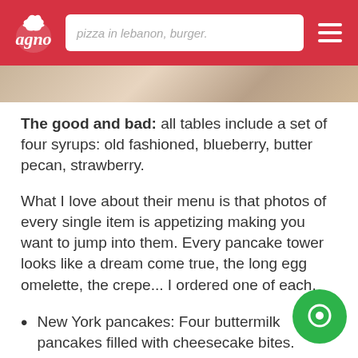agno — pizza in lebanon, burger.
[Figure (photo): Partial food photo strip visible below the header navigation bar]
The good and bad: all tables include a set of four syrups: old fashioned, blueberry, butter pecan, strawberry.
What I love about their menu is that photos of every single item is appetizing making you want to jump into them. Every pancake tower looks like a dream come true, the long egg omelette, the crepe... I ordered one of each.
New York pancakes: Four buttermilk pancakes filled with cheesecake bites. Topped with glazed strawberries and with powdered sugar.
Classic breakfast crepes: Two crepes stuffed